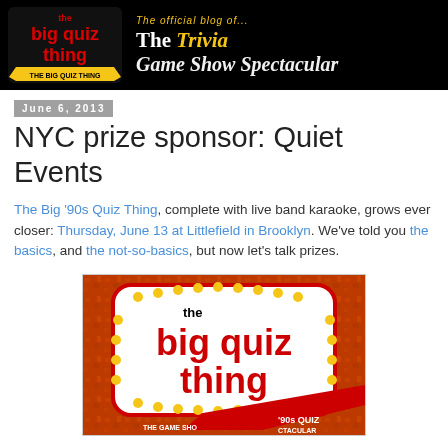[Figure (logo): The Big Quiz Thing logo banner on black background with text 'The Official Blog of... The Trivia Game Show Spectacular']
June 6, 2013
NYC prize sponsor: Quiet Events
The Big '90s Quiz Thing, complete with live band karaoke, grows ever closer: Thursday, June 13 at Littlefield in Brooklyn. We've told you the basics, and the not-so-basics, but now let's talk prizes.
[Figure (logo): The Big Quiz Thing logo with red bold text on dark orange textured background with white dots border and '90s Quiz' banner]